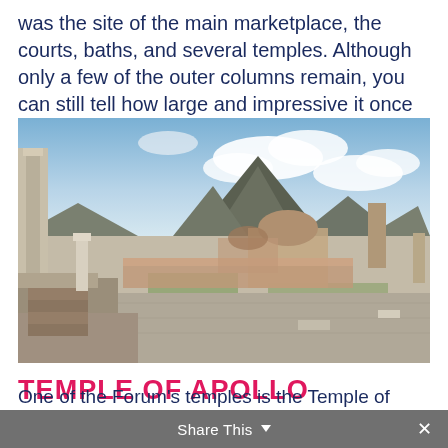was the site of the main marketplace, the courts, baths, and several temples. Although only a few of the outer columns remain, you can still tell how large and impressive it once was.
[Figure (photo): Photograph of the Pompeii Forum ruins with Mount Vesuvius in the background, showing ancient stone structures, columns, and open paved areas under a partly cloudy sky.]
TEMPLE OF APOLLO
One of the Forum's temples is the Temple of